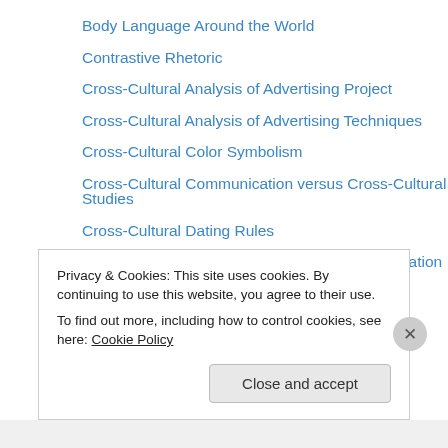Body Language Around the World
Contrastive Rhetoric
Cross-Cultural Analysis of Advertising Project
Cross-Cultural Analysis of Advertising Techniques
Cross-Cultural Color Symbolism
Cross-Cultural Communication versus Cross-Cultural Studies
Cross-Cultural Dating Rules
Cultural Assimilation and Organizational Assimilation
Culture Shock
Deciphering Facial Expressions
Dining Around the World
Direct versus Indirect Communication Style
Emotion and Culture
Privacy & Cookies: This site uses cookies. By continuing to use this website, you agree to their use.
To find out more, including how to control cookies, see here: Cookie Policy